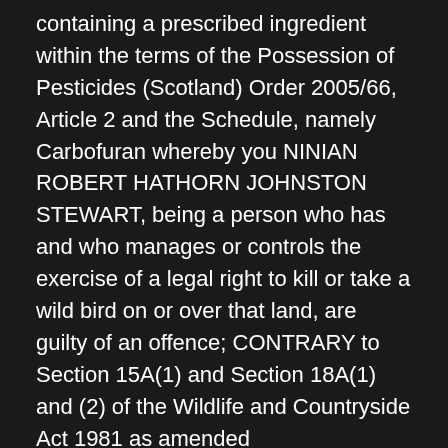containing a prescribed ingredient within the terms of the Possession of Pesticides (Scotland) Order 2005/66, Article 2 and the Schedule, namely Carbofuran whereby you NINIAN ROBERT HATHORN JOHNSTON STEWART, being a person who has and who manages or controls the exercise of a legal right to kill or take a wild bird on or over that land, are guilty of an offence; CONTRARY to Section 15A(1) and Section 18A(1) and (2) of the Wildlife and Countryside Act 1981 as amended
And it is hereby certified in terms of section 20 of the aforementioned Act that evidence sufficient in the opinion of the prosecutor to warrant proceedings came to his knowledge on 17th July 2013